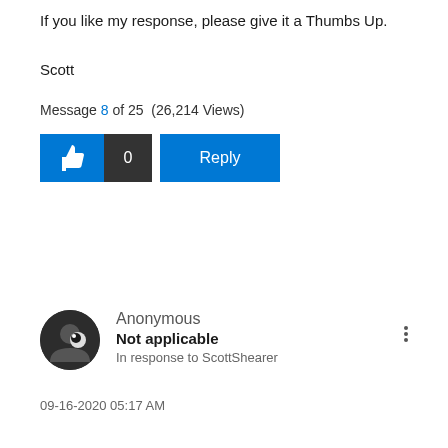If you like my response, please give it a Thumbs Up.
Scott
Message 8 of 25 (26,214 Views)
Anonymous
Not applicable
In response to ScottShearer
09-16-2020 05:17 AM